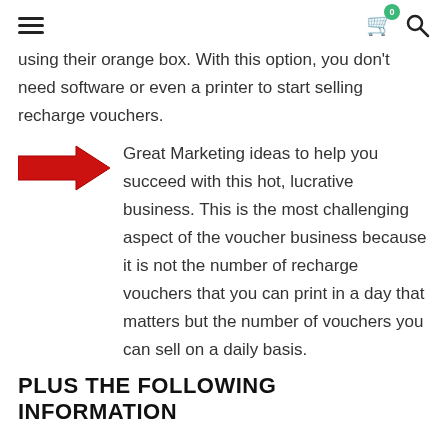Navigation header with hamburger menu, cart icon (badge: 0), and search icon
using their orange box. With this option, you don't need software or even a printer to start selling recharge vouchers.
[Figure (illustration): Red arrow pointing right]
Great Marketing ideas to help you succeed with this hot, lucrative business. This is the most challenging aspect of the voucher business because it is not the number of recharge vouchers that you can print in a day that matters but the number of vouchers you can sell on a daily basis.
PLUS THE FOLLOWING INFORMATION